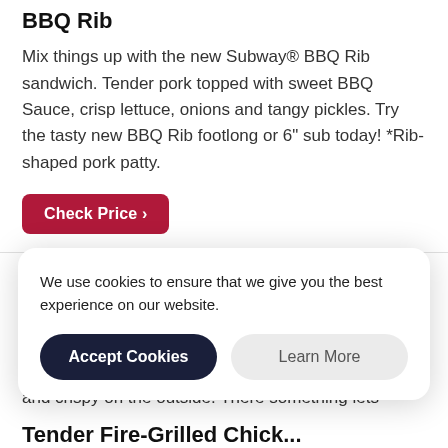BBQ Rib
Mix things up with the new Subway® BBQ Rib sandwich. Tender pork topped with sweet BBQ Sauce, crisp lettuce, onions and tangy pickles. Try the tasty new BBQ Rib footlong or 6" sub today! *Rib-shaped pork patty.
Check Price ›
Homestyle Crispy Chicken
Meet the chicken sandwich your taste buds have been waiting for. The New Homestyle Crispy Chicken Sandwich starts with chicken that's juicy on the inside and crispy on the outside. The new chicken...
We use cookies to ensure that we give you the best experience on our website.
Accept Cookies
Learn More
Tender Fire-Grilled Chick...